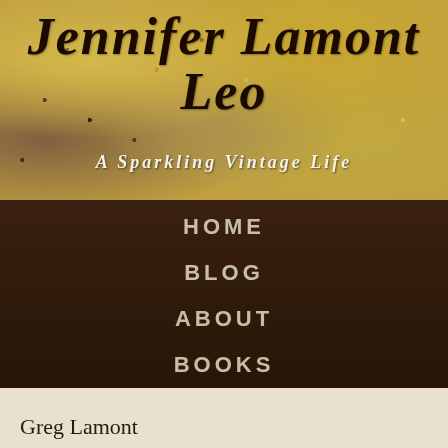Jennifer Lamont Leo
A Sparkling Vintage Life
HOME
BLOG
ABOUT
BOOKS
PODCAST
CONTACT
PRIVACY POLICY
Greg Lamont